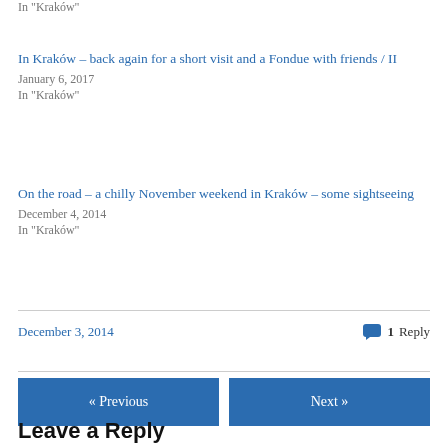In "Kraków"
In Kraków – back again for a short visit and a Fondue with friends / II
January 6, 2017
In "Kraków"
On the road – a chilly November weekend in Kraków – some sightseeing
December 4, 2014
In "Kraków"
December 3, 2014
1 Reply
« Previous
Next »
Leave a Reply